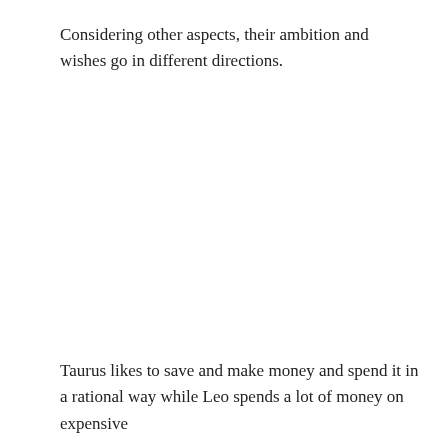Considering other aspects, their ambition and wishes go in different directions.
Taurus likes to save and make money and spend it in a rational way while Leo spends a lot of money on expensive